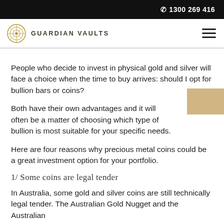1300 269 416
GUARDIAN VAULTS
People who decide to invest in physical gold and silver will face a choice when the time to buy arrives: should I opt for bullion bars or coins?
Both have their own advantages and it will often be a matter of choosing which type of bullion is most suitable for your specific needs.
Here are four reasons why precious metal coins could be a great investment option for your portfolio.
1/ Some coins are legal tender
In Australia, some gold and silver coins are still technically legal tender. The Australian Gold Nugget and the Australian